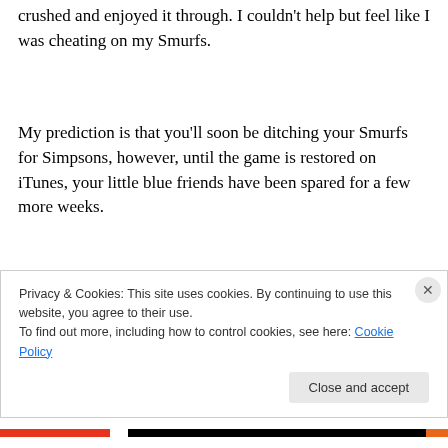crushed and enjoyed it through. I couldn't help but feel like I was cheating on my Smurfs.
My prediction is that you'll soon be ditching your Smurfs for Simpsons, however, until the game is restored on iTunes, your little blue friends have been spared for a few more weeks.
March 6, 2013
Leave a Reply
Privacy & Cookies: This site uses cookies. By continuing to use this website, you agree to their use.
To find out more, including how to control cookies, see here: Cookie Policy
Close and accept